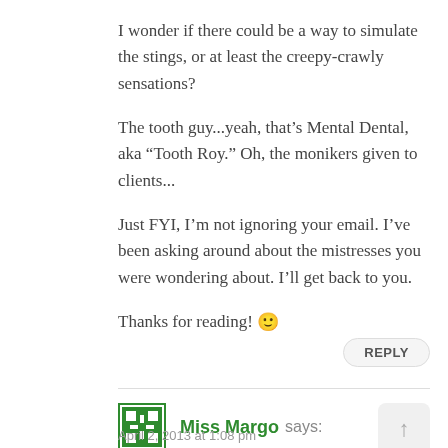I wonder if there could be a way to simulate the stings, or at least the creepy-crawly sensations?

The tooth guy...yeah, that's Mental Dental, aka “Tooth Roy.” Oh, the monikers given to clients...

Just FYI, I’m not ignoring your email. I’ve been asking around about the mistresses you were wondering about. I’ll get back to you.

Thanks for reading! 🙂
REPLY
Miss Margo says:
April 2, 2013 at 1:08 pm